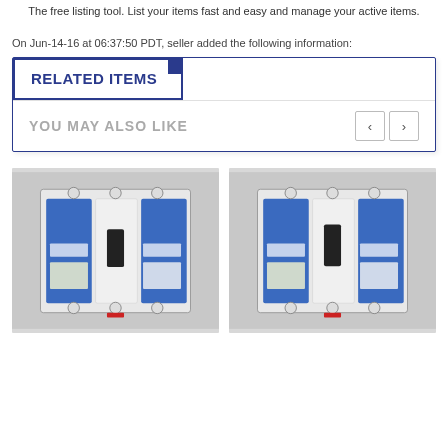The free listing tool. List your items fast and easy and manage your active items.
On Jun-14-16 at 06:37:50 PDT, seller added the following information:
RELATED ITEMS
YOU MAY ALSO LIKE
[Figure (photo): Photo of a circuit breaker with blue and white label, three-pole industrial breaker]
[Figure (photo): Photo of a similar circuit breaker with blue and white label, three-pole industrial breaker]